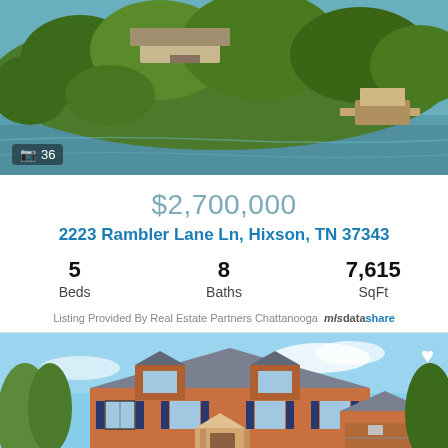[Figure (photo): Aerial view of lakefront property with lush green trees, house partially visible, dock and boat house at water's edge. Photo count badge showing camera icon and 36.]
$2,700,000
2223 Rambler Lane Ln, Hixson, TN 37343
5 Beds  8 Baths  7,615 SqFt
Listing Provided By Real Estate Partners Chattanooga  mlsdatashare
[Figure (photo): Front exterior of a large two-story brick colonial home with dormer windows, attached garage, and heart/favorite icon overlay in top right corner.]